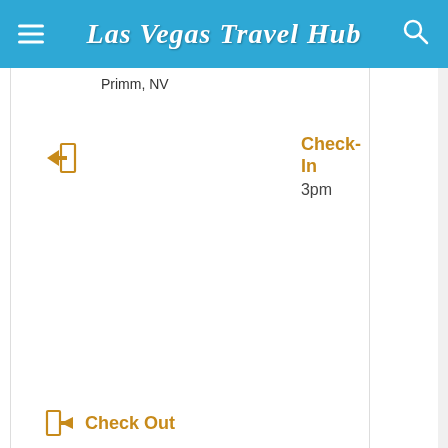Las Vegas Travel Hub
Primm, NV
Check-In 3pm
Check Out